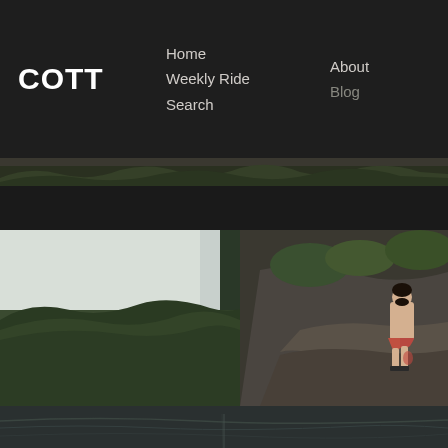COTT — navigation: Home, Weekly Ride, Search, About, Blog
[Figure (photo): Narrow horizontal landscape strip showing treetops and sky, dark and muted, forming a decorative band beneath the navigation bar]
[Figure (photo): Main hero photo of a shirtless man standing on rocky cliff ledge overlooking a forested gorge, green trees and pale sky visible, dramatic outdoor scene]
[Figure (photo): Bottom strip showing water surface with a faint vertical element, dark toned]